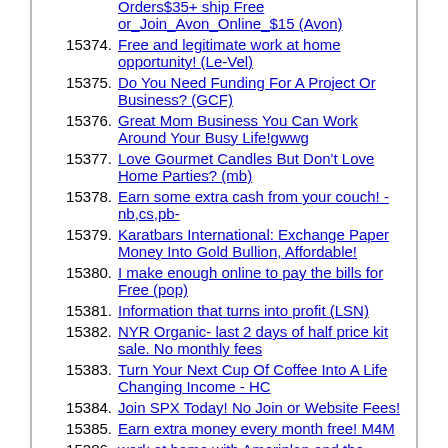15374. Free and legitimate work at home opportunity! (Le-Vel)
15375. Do You Need Funding For A Project Or Business? (GCF)
15376. Great Mom Business You Can Work Around Your Busy Life!gwwg
15377. Love Gourmet Candles But Don't Love Home Parties? (mb)
15378. Earn some extra cash from your couch! -nb,cs,pb-
15379. Karatbars International: Exchange Paper Money Into Gold Bullion, Affordable!
15380. I make enough online to pay the bills for Free (pop)
15381. Information that turns into profit (LSN)
15382. NYR Organic- last 2 days of half price kit sale. No monthly fees
15383. Turn Your Next Cup Of Coffee Into A Life Changing Income - HC
15384. Join SPX Today! No Join or Website Fees!
15385. Earn extra money every month free! M4M
15386. work at home with Ameriplan and the Freedom at home Team
15387. 4300% growth in the last 12 months- LV
15388. Perfect 100% Free Business to Work From Home (IPDN)
15389. Le-Vel Thrive, Free To Join, Weight Loss Patch is Here. Check Us Out!